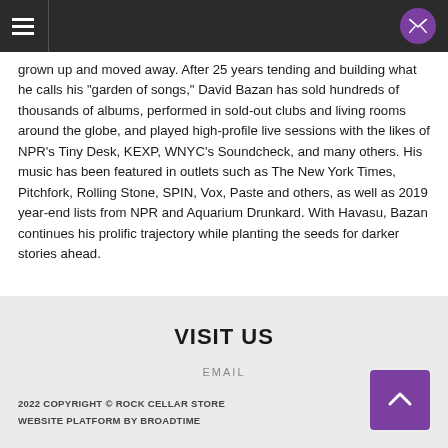[hamburger menu] [mail button]
grown up and moved away. After 25 years tending and building what he calls his "garden of songs," David Bazan has sold hundreds of thousands of albums, performed in sold-out clubs and living rooms around the globe, and played high-profile live sessions with the likes of NPR's Tiny Desk, KEXP, WNYC's Soundcheck, and many others. His music has been featured in outlets such as The New York Times, Pitchfork, Rolling Stone, SPIN, Vox, Paste and others, as well as 2019 year-end lists from NPR and Aquarium Drunkard. With Havasu, Bazan continues his prolific trajectory while planting the seeds for darker stories ahead.
VISIT US
EMAIL
2022 COPYRIGHT © ROCK CELLAR STORE
WEBSITE PLATFORM BY BROADTIME